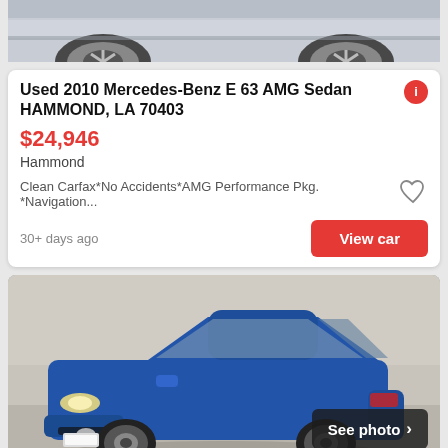[Figure (photo): Top portion of a silver Mercedes-Benz sedan showing the lower body and alloy wheels]
Used 2010 Mercedes-Benz E 63 AMG Sedan HAMMOND, LA 70403
$24,946
Hammond
Clean Carfax*No Accidents*AMG Performance Pkg. *Navigation...
30+ days ago
View car
[Figure (photo): Blue Toyota Prius hatchback parked in a driveway or garage area, front three-quarter view]